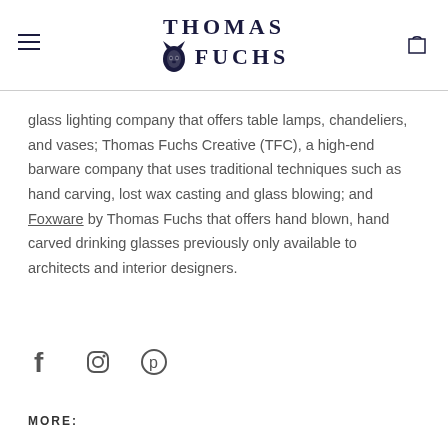THOMAS FUCHS
glass lighting company that offers table lamps, chandeliers, and vases; Thomas Fuchs Creative (TFC), a high-end barware company that uses traditional techniques such as hand carving, lost wax casting and glass blowing; and Foxware by Thomas Fuchs that offers hand blown, hand carved drinking glasses previously only available to architects and interior designers.
[Figure (other): Social media icons: Facebook, Instagram, Pinterest]
MORE: